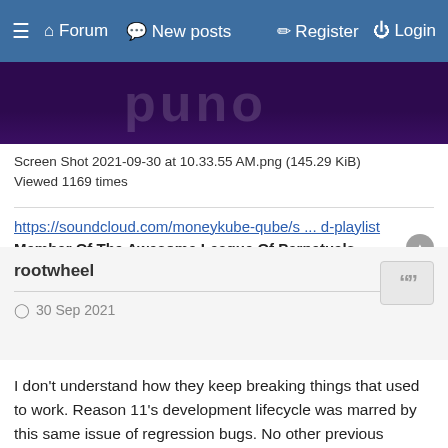≡  🏠 Forum  💬 New posts  ✎ Register  ⏻ Login
[Figure (screenshot): Partial screenshot of a dark purple image with white text, partially cropped at top]
Screen Shot 2021-09-30 at 10.33.55 AM.png (145.29 KiB)
Viewed 1169 times
https://soundcloud.com/moneykube-qube/s ... d-playlist
Member Of The Awesome League Of Perpetuals -
rootwheel
30 Sep 2021
I don't understand how they keep breaking things that used to work. Reason 11's development lifecycle was marred by this same issue of regression bugs. No other previous versions of Reason had this happen.